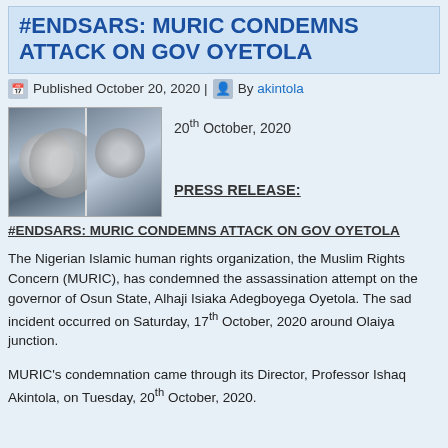#ENDSARS: MURIC CONDEMNS ATTACK ON GOV OYETOLA
Published October 20, 2020 | By akintola
[Figure (photo): Photo showing damaged vehicle windshield, two side-by-side images]
20th October, 2020
PRESS RELEASE:
#ENDSARS: MURIC CONDEMNS ATTACK ON GOV OYETOLA
The Nigerian Islamic human rights organization, the Muslim Rights Concern (MURIC), has condemned the assassination attempt on the governor of Osun State, Alhaji Isiaka Adegboyega Oyetola. The sad incident occurred on Saturday, 17th October, 2020 around Olaiya junction.
MURIC's condemnation came through its Director, Professor Ishaq Akintola, on Tuesday, 20th October, 2020.